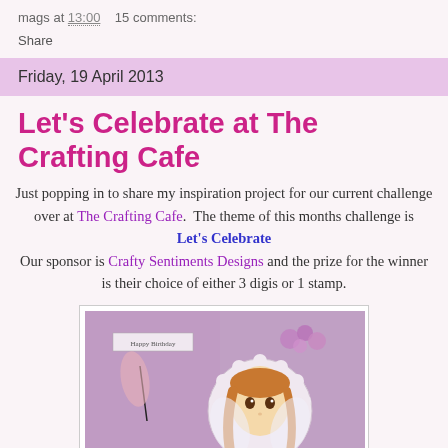mags at 13:00   15 comments:
Share
Friday, 19 April 2013
Let's Celebrate at The Crafting Cafe
Just popping in to share my inspiration project for our current challenge over at The Crafting Cafe.  The theme of this months challenge is
Let's Celebrate
Our sponsor is Crafty Sentiments Designs and the prize for the winner is their choice of either 3 digis or 1 stamp.
[Figure (photo): A handmade birthday card with purple/lavender tones featuring a manga-style girl with brown hair, decorative roses, and 'Happy Birthday' text]